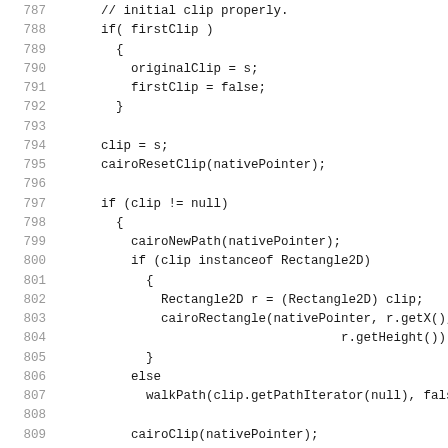Code listing lines 787–818, Java source code showing clip handling and setBackground method